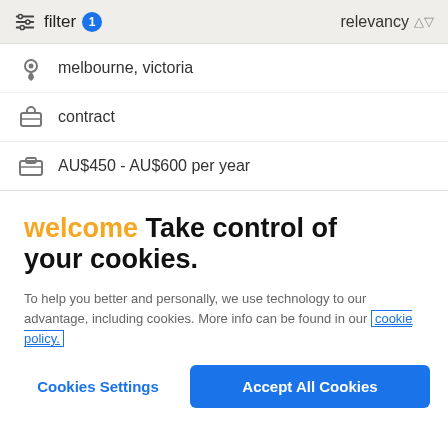filter 1   relevancy
melbourne, victoria
contract
AU$450 - AU$600 per year
welcome Take control of your cookies.
To help you better and personally, we use technology to our advantage, including cookies. More info can be found in our cookie policy.
Cookies Settings   Accept All Cookies